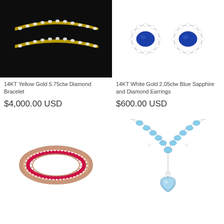[Figure (photo): 14KT Yellow Gold diamond bracelet on black background]
[Figure (photo): 14KT White Gold Blue Sapphire and Diamond Earrings on white background]
14KT Yellow Gold 5.75ctw Diamond Bracelet
$4,000.00 USD
14KT White Gold 2.05ctw Blue Sapphire and Diamond Earrings
$600.00 USD
[Figure (photo): Rose gold and ruby eternity band ring]
[Figure (photo): Silver and light blue aquamarine Y-necklace with teardrop pendant]